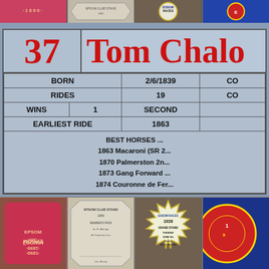[Figure (photo): Top strip of four historical Epsom racing badges/tokens from circa 1890]
| Number | Name |
| --- | --- |
| 37 | Tom Chalo... |
| BORN | 2/6/1839 |  |
| RIDES | 19 | CO... |
| WINS | 1 | SECOND |  |
| EARLIEST RIDE | 1863 |  |
|  | BEST HORSES ...
1863 Macaroni (SR 2...
1870 Palmerston 2n...
1873 Gang Forward ...
1874 Couronne de Fer... |
[Figure (photo): Bottom strip of four historical Epsom racing badges: 1890 Epsom pink badge, 1890 Epsom Club Stand Member's Pass, 1928 Edsom Races Grand Stand Tuesday June 5th badge, and partial blue Epsom badge]